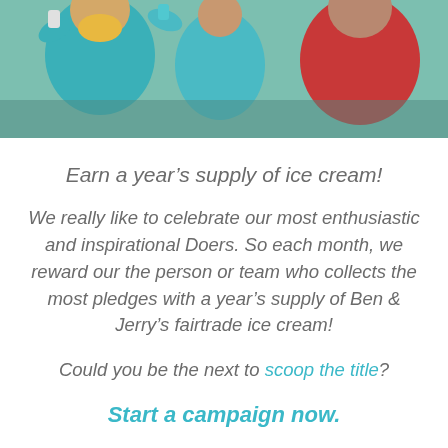[Figure (photo): Group of people outdoors celebrating, raising drinks, wearing colorful jackets including teal and red]
Earn a year's supply of ice cream!
We really like to celebrate our most enthusiastic and inspirational Doers. So each month, we reward our the person or team who collects the most pledges with a year's supply of Ben & Jerry's fairtrade ice cream!
Could you be the next to scoop the title?
Start a campaign now.